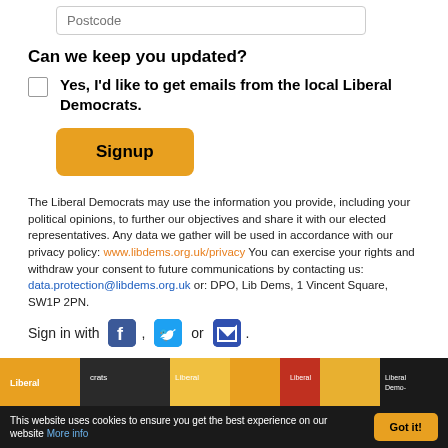Postcode
Can we keep you updated?
Yes, I'd like to get emails from the local Liberal Democrats.
Signup
The Liberal Democrats may use the information you provide, including your political opinions, to further our objectives and share it with our elected representatives. Any data we gather will be used in accordance with our privacy policy: www.libdems.org.uk/privacy You can exercise your rights and withdraw your consent to future communications by contacting us: data.protection@libdems.org.uk or: DPO, Lib Dems, 1 Vincent Square, SW1P 2PN.
Sign in with , or .
[Figure (photo): Liberal Democrats banner/campaign material photo strip]
This website uses cookies to ensure you get the best experience on our website More info